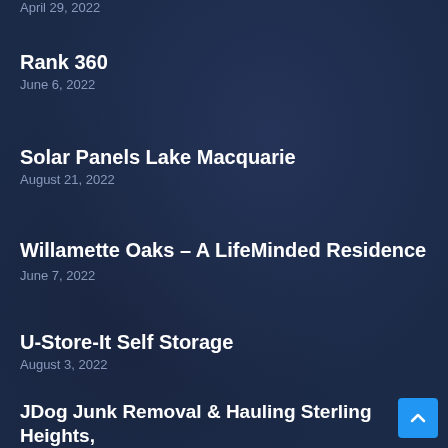April 29, 2022
Rank 360
June 6, 2022
Solar Panels Lake Macquarie
August 21, 2022
Willamette Oaks – A LifeMinded Residence
June 7, 2022
U-Store-It Self Storage
August 3, 2022
JDog Junk Removal & Hauling Sterling Heights, MI